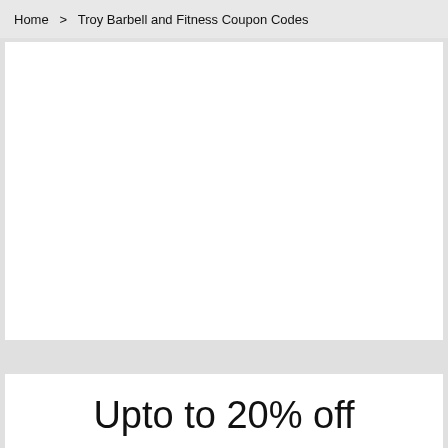Home > Troy Barbell and Fitness Coupon Codes
[Figure (other): Large white blank content card area]
Upto to 20% off